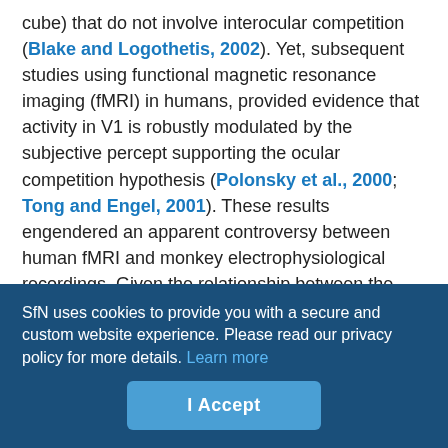cube) that do not involve interocular competition (Blake and Logothetis, 2002). Yet, subsequent studies using functional magnetic resonance imaging (fMRI) in humans, provided evidence that activity in V1 is robustly modulated by the subjective percept supporting the ocular competition hypothesis (Polonsky et al., 2000; Tong and Engel, 2001). These results engendered an apparent controversy between human fMRI and monkey electrophysiological recordings. Given the relationship between the BOLD signal and the LFP (Logothetis et al., 2001; Goense and Logothetis, 2008), one could speculate that the robust perceptual modulations reported in human fMRI studies may also be reflected in LFP signals. To this end, recent studies using the paradigm of generalized flash suppression (GFS) implicated that low-frequency LFPs show
SfN uses cookies to provide you with a secure and custom website experience. Please read our privacy policy for more details. Learn more